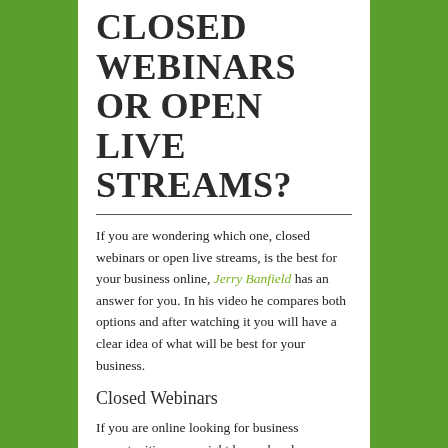CLOSED WEBINARS OR OPEN LIVE STREAMS?
If you are wondering which one, closed webinars or open live streams, is the best for your business online, Jerry Banfield has an answer for you. In his video he compares both options and after watching it you will have a clear idea of what will be best for your business.
Closed Webinars
If you are online looking for business opportunities, you might have already experienced signing-up for a